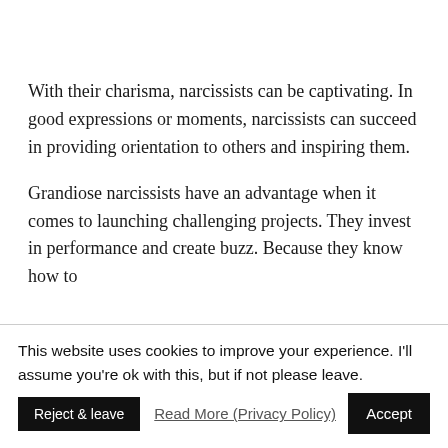With their charisma, narcissists can be captivating. In good expressions or moments, narcissists can succeed in providing orientation to others and inspiring them.
Grandiose narcissists have an advantage when it comes to launching challenging projects. They invest in performance and create buzz. Because they know how to...
This website uses cookies to improve your experience. I'll assume you're ok with this, but if not please leave.